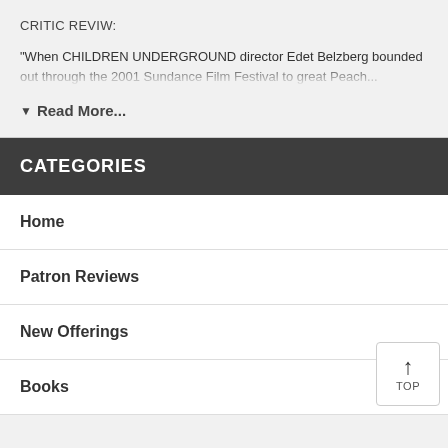CRITIC REVIW:
"When CHILDREN UNDERGROUND director Edet Belzberg bounded out through the 2001 Sundance Film Festival to great Peach...
▼ Read More...
CATEGORIES
Home
Patron Reviews
New Offerings
Books